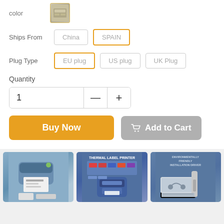color
[Figure (photo): Small product color thumbnail image]
Ships From
China
SPAIN
Plug Type
EU plug
US plug
UK Plug
Quantity
1
Buy Now
Add to Cart
[Figure (photo): Thermal label printer product image - blue/grey device with printed label and accessories]
[Figure (photo): Thermal Label Printer promotional image showing compatible shipping platforms]
[Figure (photo): Environmentally friendly installation driver product image showing device with laptop]